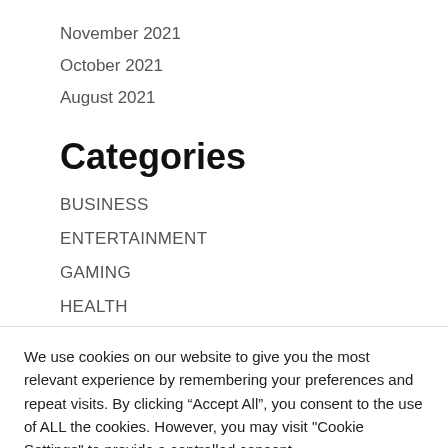November 2021
October 2021
August 2021
Categories
BUSINESS
ENTERTAINMENT
GAMING
HEALTH
We use cookies on our website to give you the most relevant experience by remembering your preferences and repeat visits. By clicking “Accept All”, you consent to the use of ALL the cookies. However, you may visit "Cookie Settings" to provide a controlled consent.
Cookie Settings | Accept All